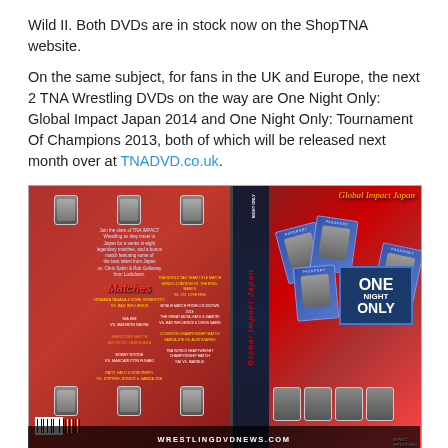Wild II. Both DVDs are in stock now on the ShopTNA website.
On the same subject, for fans in the UK and Europe, the next 2 TNA Wrestling DVDs on the way are One Night Only: Global Impact Japan 2014 and One Night Only: Tournament Of Champions 2013, both of which will be released next month over at TNADVD.co.uk.
[Figure (photo): DVD cover for TNA One Night Only: Global Impact Japan — shows front and back cover with wrestler portraits, match listings, passport motif design, and One Night Only logo box]